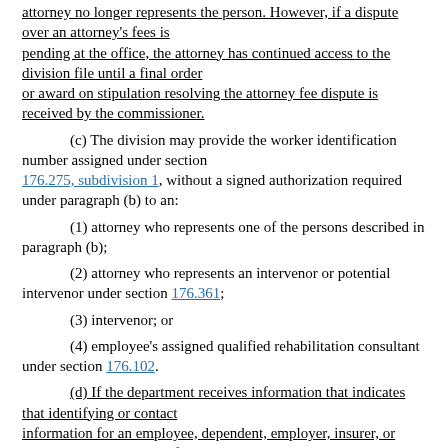attorney no longer represents the person. However, if a dispute over an attorney's fees is pending at the office, the attorney has continued access to the division file until a final order or award on stipulation resolving the attorney fee dispute is received by the commissioner.
(c) The division may provide the worker identification number assigned under section 176.275, subdivision 1, without a signed authorization required under paragraph (b) to an:
(1) attorney who represents one of the persons described in paragraph (b);
(2) attorney who represents an intervenor or potential intervenor under section 176.361;
(3) intervenor; or
(4) employee's assigned qualified rehabilitation consultant under section 176.102.
(d) If the department receives information that indicates that identifying or contact information for an employee, dependent, employer, insurer, or third-party administrator for an employer or insurer is erroneous or no longer accurate, the department may update the